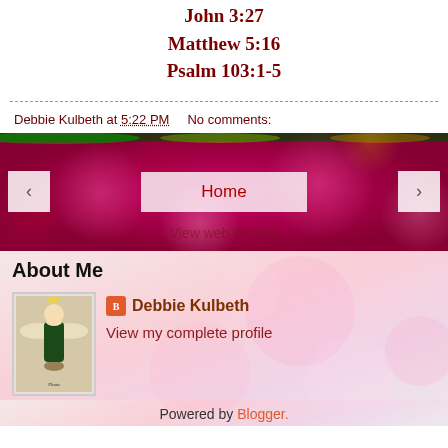John 3:27
Matthew 5:16
Psalm 103:1-5
Debbie Kulbeth at 5:22 PM    No comments:
[Figure (screenshot): Navigation bar with previous, Home, and next buttons over a colorful bokeh background with pink, red, green lights. Also shows 'View web version' link.]
About Me
[Figure (photo): Small portrait photo of an angel or religious figure illustration]
Debbie Kulbeth
View my complete profile
Powered by Blogger.